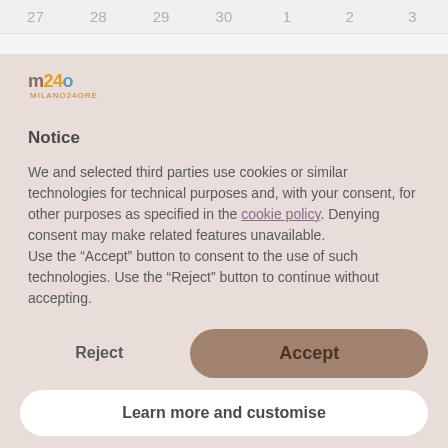27  28  29  30  1  2  3
[Figure (logo): m24o Milano24Ore logo]
Notice
We and selected third parties use cookies or similar technologies for technical purposes and, with your consent, for other purposes as specified in the cookie policy. Denying consent may make related features unavailable.
Use the “Accept” button to consent to the use of such technologies. Use the “Reject” button to continue without accepting.
Reject
Accept
Learn more and customise